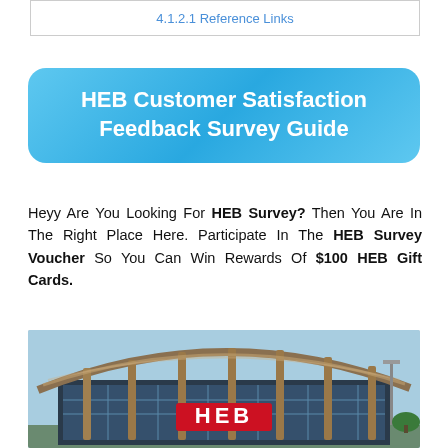4.1.2.1 Reference Links
HEB Customer Satisfaction Feedback Survey Guide
Heyy Are You Looking For HEB Survey? Then You Are In The Right Place Here. Participate In The HEB Survey Voucher So You Can Win Rewards Of $100 HEB Gift Cards.
[Figure (photo): Exterior photograph of an HEB grocery store building with a distinctive curved wooden-beam canopy roof structure and the red HEB logo sign on the facade.]